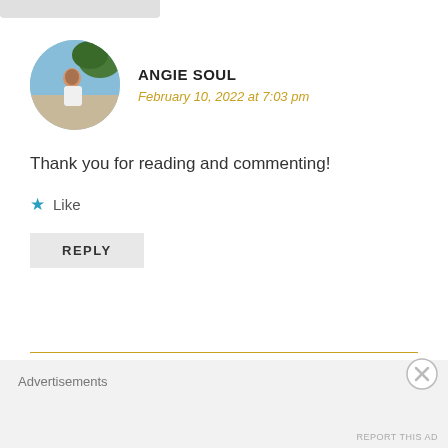[Figure (photo): Circular avatar photo of Angie Soul - woman sitting outdoors near water]
ANGIE SOUL
February 10, 2022 at 7:03 pm
Thank you for reading and commenting!
Like
REPLY
[Figure (photo): Circular avatar photo of WOMBATJAMBALAYAOBERON31620 - person wearing sunglasses outdoors]
WOMBATJAMBALAYAOBERON31620
Advertisements